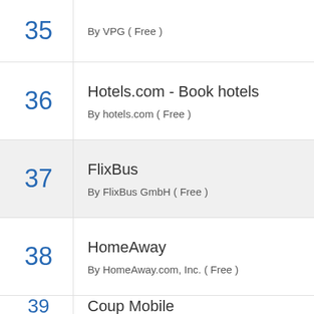35 — By VPG ( Free )
36 — Hotels.com - Book hotels — By hotels.com ( Free )
37 — FlixBus — By FlixBus GmbH ( Free )
38 — HomeAway — By HomeAway.com, Inc. ( Free )
39 — Coup Mobile (partial)